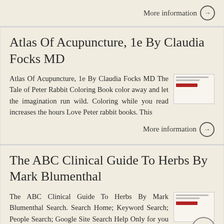More information →
Atlas Of Acupuncture, 1e By Claudia Focks MD
Atlas Of Acupuncture, 1e By Claudia Focks MD The Tale of Peter Rabbit Coloring Book color away and let the imagination run wild. Coloring while you read increases the hours Love Peter rabbit books. This
More information →
The ABC Clinical Guide To Herbs By Mark Blumenthal
The ABC Clinical Guide To Herbs By Mark Blumenthal Search. Search Home; Keyword Search; People Search; Google Site Search Help Only for you today! Discover your favourite abc clinical guide to herbs book